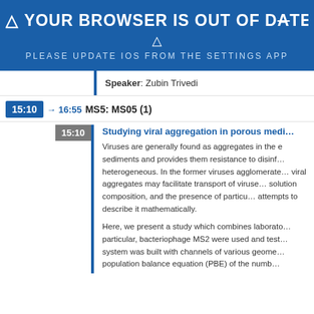⚠ YOUR BROWSER IS OUT OF DATE ⚠
PLEASE UPDATE IOS FROM THE SETTINGS APP
Speaker: Zubin Trivedi
15:10 → 16:55  MS5: MS05 (1)
15:10  Studying viral aggregation in porous medi...
Viruses are generally found as aggregates in the sediments and provides them resistance to disinfection. The aggregation can be homogeneous or heterogeneous. In the former viruses agglomerate with each other while in the latter, viral aggregates may facilitate transport of viruses. Aggregation depends on solution composition, and the presence of particulate matter. This work attempts to describe it mathematically.
Here, we present a study which combines laboratory experiments. In particular, bacteriophage MS2 were used and tested in a microfluidic system was built with channels of various geometries. We used a population balance equation (PBE) of the num...